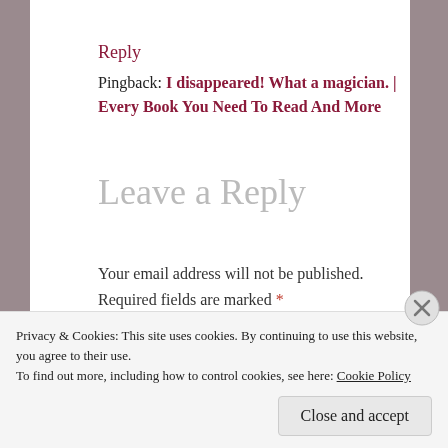Reply
Pingback: I disappeared! What a magician. | Every Book You Need To Read And More
Leave a Reply
Your email address will not be published. Required fields are marked *
COMMENT *
Privacy & Cookies: This site uses cookies. By continuing to use this website, you agree to their use. To find out more, including how to control cookies, see here: Cookie Policy
Close and accept